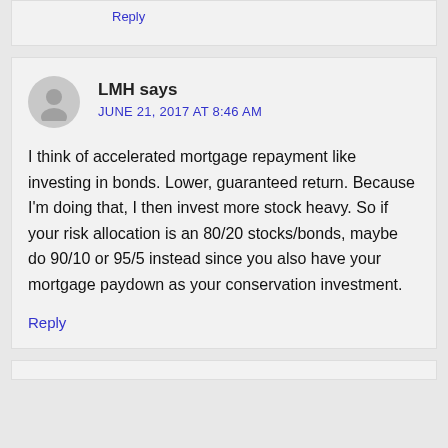Reply
LMH says
JUNE 21, 2017 AT 8:46 AM
I think of accelerated mortgage repayment like investing in bonds. Lower, guaranteed return. Because I'm doing that, I then invest more stock heavy. So if your risk allocation is an 80/20 stocks/bonds, maybe do 90/10 or 95/5 instead since you also have your mortgage paydown as your conservation investment.
Reply